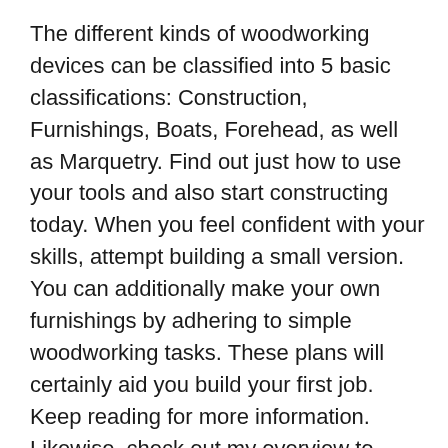The different kinds of woodworking devices can be classified into 5 basic classifications: Construction, Furnishings, Boats, Forehead, as well as Marquetry. Find out just how to use your tools and also start constructing today. When you feel confident with your skills, attempt building a small version. You can additionally make your own furnishings by adhering to simple woodworking tasks. These plans will certainly aid you build your first job. Keep reading for more information. Likewise, check out my overview to woodworking devices as well as methods.
Building and construction
There are many different types of